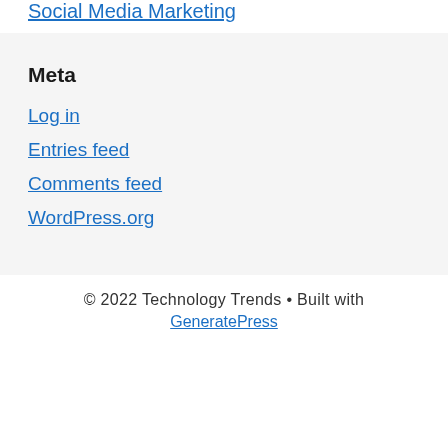Social Media Marketing
Meta
Log in
Entries feed
Comments feed
WordPress.org
© 2022 Technology Trends • Built with GeneratePress